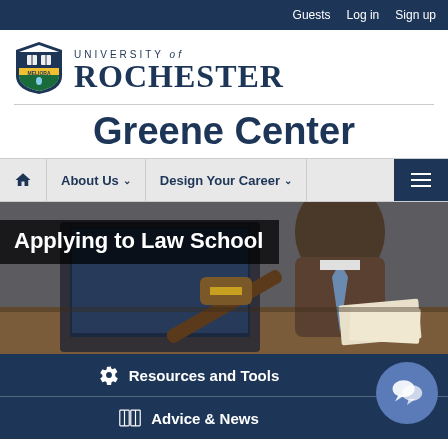Guests  Log in  Sign up
[Figure (logo): University of Rochester shield logo with blue and yellow crest]
University of Rochester
Greene Center
About Us  Design Your Career
[Figure (photo): Photo of a judge's gavel on a desk with a laptop and person in background, representing law school]
Applying to Law School
Resources and Tools
Advice & News
Before you begin exploring law school it's important determine if it's